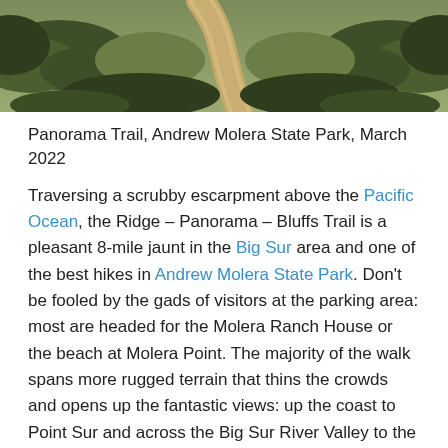[Figure (photo): Aerial/ground view of a dirt trail (Panorama Trail) winding through scrubby green chaparral vegetation at Andrew Molera State Park]
Panorama Trail, Andrew Molera State Park, March 2022
Traversing a scrubby escarpment above the Pacific Ocean, the Ridge – Panorama – Bluffs Trail is a pleasant 8-mile jaunt in the Big Sur area and one of the best hikes in Andrew Molera State Park. Don't be fooled by the gads of visitors at the parking area: most are headed for the Molera Ranch House or the beach at Molera Point. The majority of the walk spans more rugged terrain that thins the crowds and opens up the fantastic views: up the coast to Point Sur and across the Big Sur River Valley to the Santa Lucia Mountains. The loop twice offers beach access (along short spur trails) and combines a diversity of flora, including a small patch of redwoods.